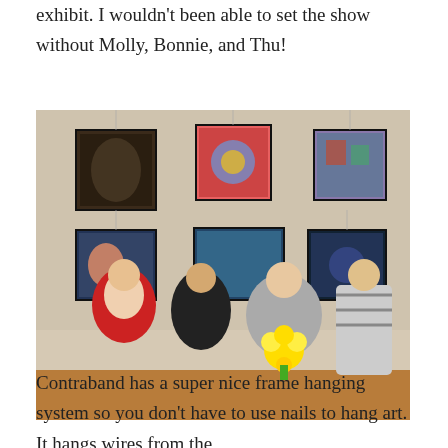exhibit. I wouldn't been able to set the show without Molly, Bonnie, and Thu!
[Figure (photo): Four women posing together in front of a gallery wall with several framed artworks. One woman on the left wears a red cardigan, one in the middle-left wears black, one in the middle-right wears a grey floral top and holds a yellow flower, and one on the right wears a striped shirt.]
Contraband has a super nice frame hanging system so you don't have to use nails to hang art. It hangs wires from the